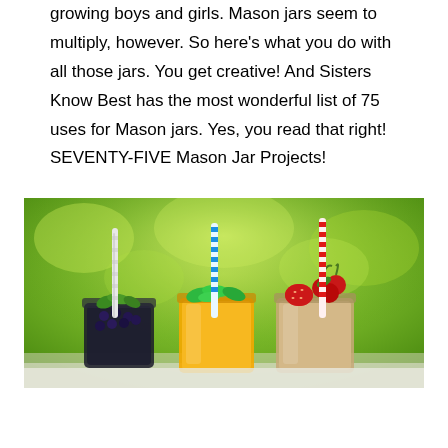growing boys and girls. Mason jars seem to multiply, however. So here's what you do with all those jars. You get creative! And Sisters Know Best has the most wonderful list of 75 uses for Mason jars. Yes, you read that right! SEVENTY-FIVE Mason Jar Projects!
[Figure (photo): Three mason jars filled with colorful drinks topped with fruit and decorative straws (white striped, blue striped, red striped), photographed outdoors against a blurred green background.]